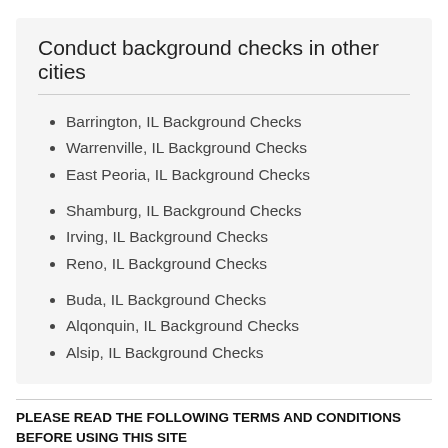Conduct background checks in other cities
Barrington, IL Background Checks
Warrenville, IL Background Checks
East Peoria, IL Background Checks
Shamburg, IL Background Checks
Irving, IL Background Checks
Reno, IL Background Checks
Buda, IL Background Checks
Alqonquin, IL Background Checks
Alsip, IL Background Checks
PLEASE READ THE FOLLOWING TERMS AND CONDITIONS BEFORE USING THIS SITE